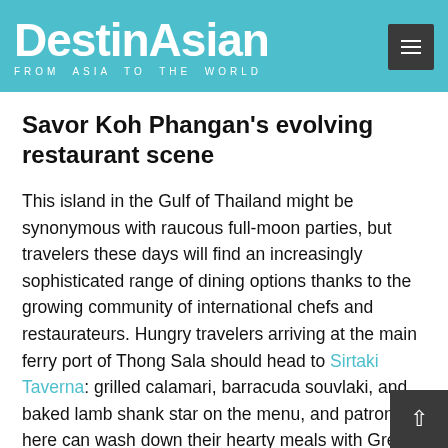DestinAsian FROM ASIA TO THE WORLD
Savor Koh Phangan's evolving restaurant scene
This island in the Gulf of Thailand might be synonymous with raucous full-moon parties, but travelers these days will find an increasingly sophisticated range of dining options thanks to the growing community of international chefs and restaurateurs. Hungry travelers arriving at the main ferry port of Thong Sala should head to Sirtaki Taverna: grilled calamari, barracuda souvlaki, and baked lamb shank star on the menu, and patrons here can wash down their hearty meals with Greek wines and ouzo. A 10-minute drive up the coast in Srithanu village, Sati Pot garners rave reviews for its traditional Persian dishes; a must-try is the Bandari shrimp, a classic hailing from southern Iran. Nearby Indian restaurant Chana Masala, meanwhile, offers thali lunches as well as mouth-watering